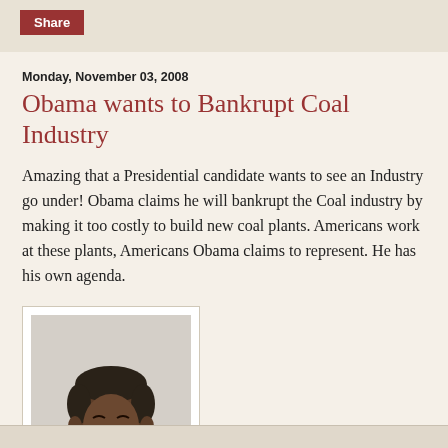Share
Monday, November 03, 2008
Obama wants to Bankrupt Coal Industry
Amazing that a Presidential candidate wants to see an Industry go under! Obama claims he will bankrupt the Coal industry by making it too costly to build new coal plants. Americans work at these plants, Americans Obama claims to represent. He has his own agenda.
[Figure (photo): Portrait photo of Barack Obama smiling slightly, wearing a dark suit jacket and light blue collared shirt, against a white background.]